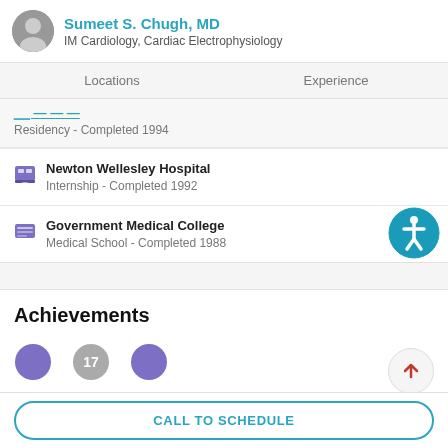Sumeet S. Chugh, MD — IM Cardiology, Cardiac Electrophysiology
Locations | Experience
Residency - Completed 1994
Newton Wellesley Hospital
Internship - Completed 1992
Government Medical College
Medical School - Completed 1988
Achievements
CALL TO SCHEDULE